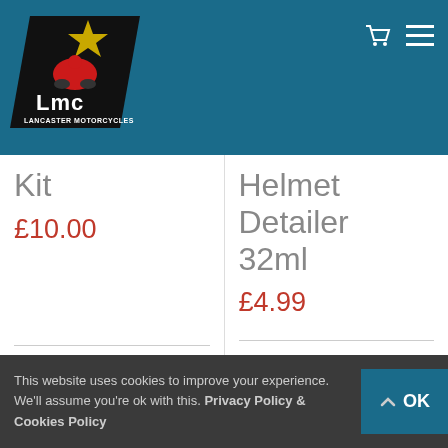[Figure (logo): LMC Lancaster Motorcycles logo — black angled parallelogram shape with red motorcycle rider, gold star, and white LMC text on dark background]
Kit
£10.00
Helmet Detailer 32ml
£4.99
Add to
Details
Add to
Details
This website uses cookies to improve your experience. We'll assume you're ok with this. Privacy Policy & Cookies Policy